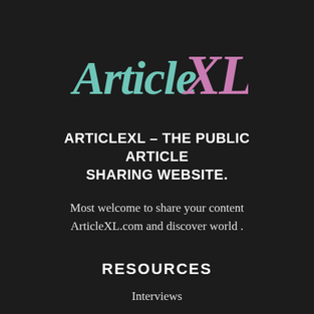[Figure (logo): ArticleXL logo in script font — 'Article' in teal/mint color and 'XL' in pink/mauve color]
ARTICLEXL – THE PUBLIC ARTICLE SHARING WEBSITE.
Most welcome to share your content ArticleXL.com and discover world .
RESOURCES
Interviews